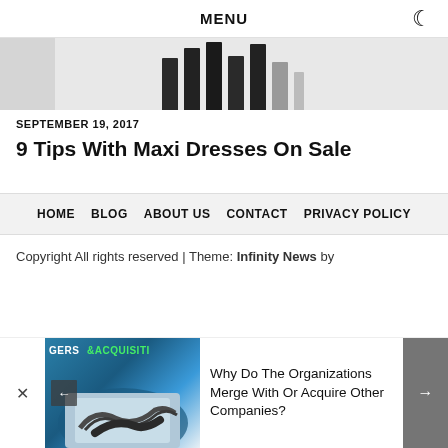MENU
[Figure (photo): Partial photo of vertical black and white stripes (clothing/fabric) with light gray background on the left side]
SEPTEMBER 19, 2017
9 Tips With Maxi Dresses On Sale
HOME  BLOG  ABOUT US  CONTACT  PRIVACY POLICY
Copyright All rights reserved | Theme: Infinity News by
[Figure (screenshot): Ad strip showing a handshake business image with text 'GERS' and 'ACQUISITI' overlay, navigation arrows, and article title 'Why Do The Organizations Merge With Or Acquire Other Companies?']